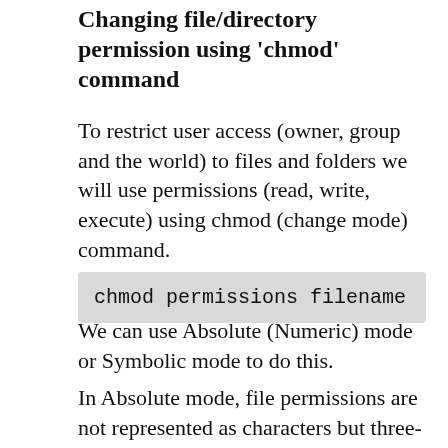Changing file/directory permission using 'chmod' command
To restrict user access (owner, group and the world) to files and folders we will use permissions (read, write, execute) using chmod (change mode) command.
chmod permissions filename
We can use Absolute (Numeric) mode or Symbolic mode to do this.
In Absolute mode, file permissions are not represented as characters but three-digit octal number. Here is a table that shows all possible